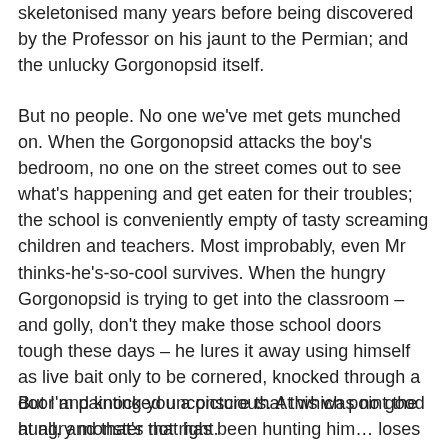skeletonised many years before being discovered by the Professor on his jaunt to the Permian; and the unlucky Gorgonopsid itself.
But no people. No one we've met gets munched on. When the Gorgonopsid attacks the boy's bedroom, no one on the street comes out to see what's happening and get eaten for their troubles; the school is conveniently empty of tasty screaming children and teachers. Most improbably, even Mr thinks-he's-so-cool survives. When the hungry Gorgonopsid is trying to get into the classroom – and golly, don't they make those school doors tough these days – he lures it away using himself as live bait only to be cornered, knocked through a door and knocked unconscious. At which point the hungry monster that has been hunting him… loses interest. Phew.
But I'm painting you a picture that this was no good at all, and that's not right.